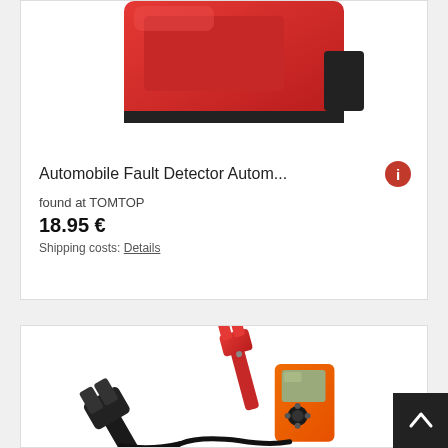[Figure (photo): Top portion of a red automobile fault detector device on white background]
Automobile Fault Detector Autom...
found at TOMTOP
18.95 €
Shipping costs: Details
[Figure (photo): Automobile battery tester with red and black clamps connected to an orange handheld diagnostic device with LCD screen and cable]